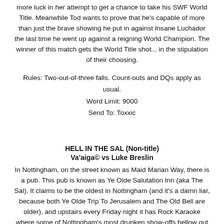more luck in her attempt to get a chance to take his SWF World Title. Meanwhile Tod wants to prove that he's capable of more than just the brave showing he put in against Insane Luchador the last time he went up against a reigning World Champion. The winner of this match gets the World Title shot... in the stipulation of their choosing.
Rules: Two-out-of-three falls. Count-outs and DQs apply as usual.
Word Limit: 9000
Send To: Toxxic
HELL IN THE SAL (Non-title)
Va'aiga© vs Luke Breslin
In Nottingham, on the street known as Maid Marian Way, there is a pub. This pub is known as Ye Olde Salutation Inn (aka The Sal). It claims to be the oldest in Nottingham (and it's a damn liar, because both Ye Olde Trip To Jerusalem and The Old Bell are older), and upstairs every Friday night it has Rock Karaoke where some of Nottingham's most drunken show-offs bellow out raucous renditions of classic rock tracks.
What a perfect place for a barroom brawl!